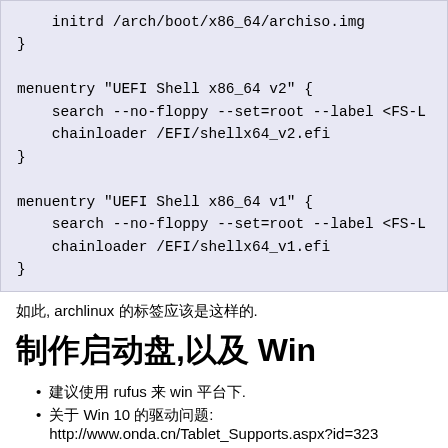initrd /arch/boot/x86_64/archiso.img
}

menuentry "UEFI Shell x86_64 v2" {
    search --no-floppy --set=root --label <FS-L
    chainloader /EFI/shellx64_v2.efi
}

menuentry "UEFI Shell x86_64 v1" {
    search --no-floppy --set=root --label <FS-L
    chainloader /EFI/shellx64_v1.efi
}
如, archlinux 的标签应该是这样的.
制作启动盘,以及 Win
建议使用 rufus 来 win 平台下.
关于 Win 10 的驱动问题:
http://www.onda.cn/Tablet_Supports.aspx?id=323